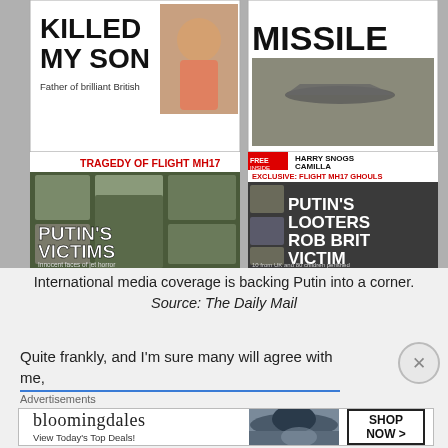[Figure (photo): Collage of newspaper front pages about Flight MH17, with headlines including 'KILLED MY SON', 'Father of brilliant British', 'TRAGEDY OF FLIGHT MH17', 'PUTIN'S VICTIMS', 'Innocent faces of jet horror', 'MISSILE', 'EXCLUSIVE: FLIGHT MH17 GHOULS', 'PUTIN'S LOOTERS ROB BRIT VICTIM', '10 from UK and 80 children perished', 'HARRY SNOGS CAMILLA', 'FREE INSIDE']
International media coverage is backing Putin into a corner. Source: The Daily Mail
Quite frankly, and I'm sure many will agree with me,
Advertisements
[Figure (other): Bloomingdales advertisement banner: 'bloomingdales / View Today's Top Deals!' with image of woman in large hat and 'SHOP NOW >' button]